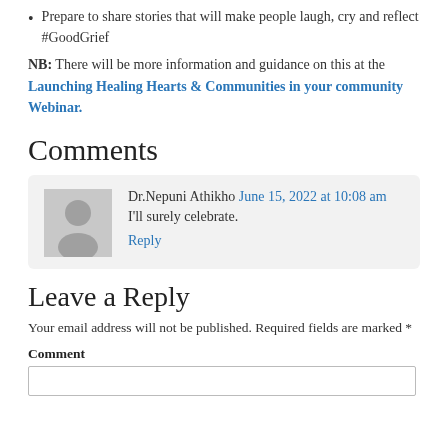Prepare to share stories that will make people laugh, cry and reflect #GoodGrief
NB: There will be more information and guidance on this at the Launching Healing Hearts & Communities in your community Webinar.
Comments
Dr.Nepuni Athikho June 15, 2022 at 10:08 am
I'll surely celebrate.
Reply
Leave a Reply
Your email address will not be published. Required fields are marked *
Comment